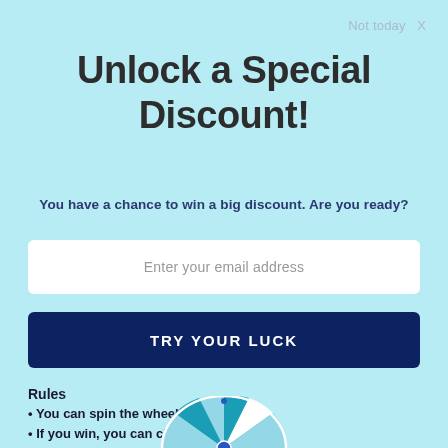Not today  X
Unlock a Special Discount!
You have a chance to win a big discount. Are you ready?
Enter your email address
TRY YOUR LUCK
Rules
You can spin the wheel only once.
If you win, you can claim your coupon!
[Figure (illustration): Bottom portion of a spin-the-wheel discount wheel showing teal and white segments with a blue center dot, partially visible at the bottom of the page]